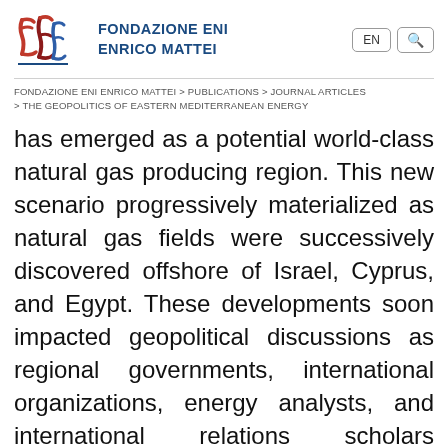[Figure (logo): Fondazione Eni Enrico Mattei logo with stylized red and blue flame/leaf shapes and organization name in dark blue uppercase text]
FONDAZIONE ENI ENRICO MATTEI > PUBLICATIONS > JOURNAL ARTICLES > THE GEOPOLITICS OF EASTERN MEDITERRANEAN ENERGY
has emerged as a potential world-class natural gas producing region. This new scenario progressively materialized as natural gas fields were successively discovered offshore of Israel, Cyprus, and Egypt. These developments soon impacted geopolitical discussions as regional governments, international organizations, energy analysts, and international relations scholars advocated using the newly-discovered natural gas resources as a tool to promote regional cooperation and peace. However, several lines of